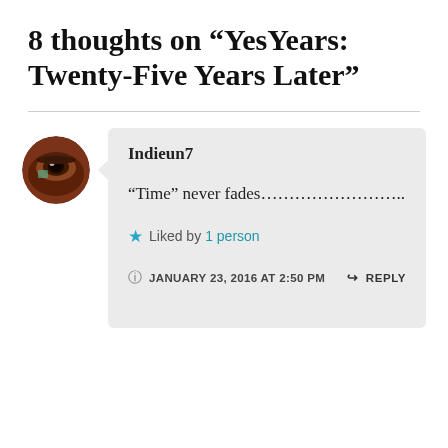8 thoughts on “YesYears: Twenty-Five Years Later”
[Figure (photo): Circular avatar image showing a close-up of a human eye with brownish iris]
Indieun7
“Time” never fades……………………..
★ Liked by 1 person
JANUARY 23, 2016 AT 2:50 PM  ↪ REPLY